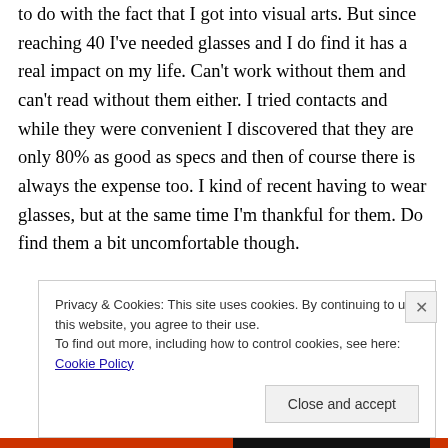to do with the fact that I got into visual arts. But since reaching 40 I've needed glasses and I do find it has a real impact on my life. Can't work without them and can't read without them either. I tried contacts and while they were convenient I discovered that they are only 80% as good as specs and then of course there is always the expense too. I kind of recent having to wear glasses, but at the same time I'm thankful for them. Do find them a bit uncomfortable though.
Privacy & Cookies: This site uses cookies. By continuing to use this website, you agree to their use.
To find out more, including how to control cookies, see here: Cookie Policy
Close and accept